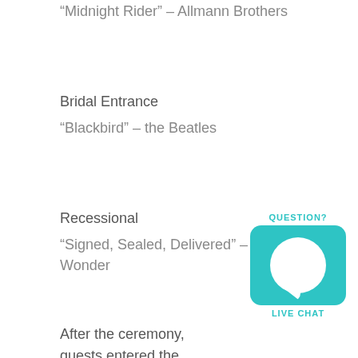“Midnight Rider” – Allmann Brothers
Bridal Entrance
“Blackbird” – the Beatles
Recessional
“Signed, Sealed, Delivered” – Stevie Wonder
After the ceremony, guests entered the Solariu performed David and Kacie’s first dance, “Danc Moonlight” – King Harvest, and then a combined